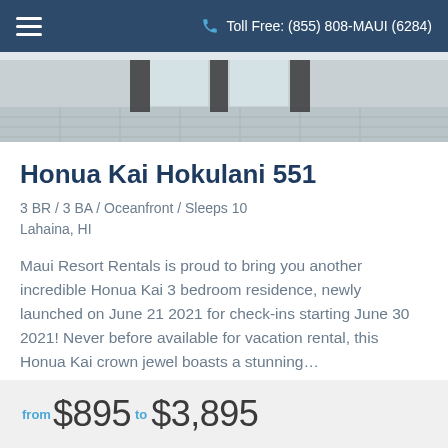Toll Free: (855) 808-MAUI (6284)
[Figure (photo): Interior photo of a resort room showing tiled floors and dark vertical pillars/columns near a window]
Honua Kai Hokulani 551
3 BR / 3 BA / Oceanfront / Sleeps 10
Lahaina, HI
Maui Resort Rentals is proud to bring you another incredible Honua Kai 3 bedroom residence, newly launched on June 21 2021 for check-ins starting June 30 2021! Never before available for vacation rental, this Honua Kai crown jewel boasts a stunning...
from $895  to $3,895